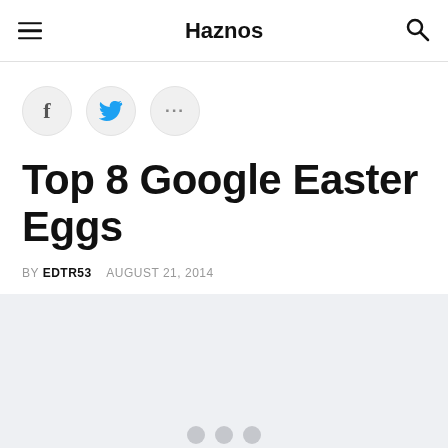Haznos
[Figure (other): Social sharing buttons: Facebook (f), Twitter (bird icon), and more (...)]
Top 8 Google Easter Eggs
BY EDTR53   AUGUST 21, 2014
[Figure (other): Gray image/slideshow placeholder with three navigation dots at the bottom]